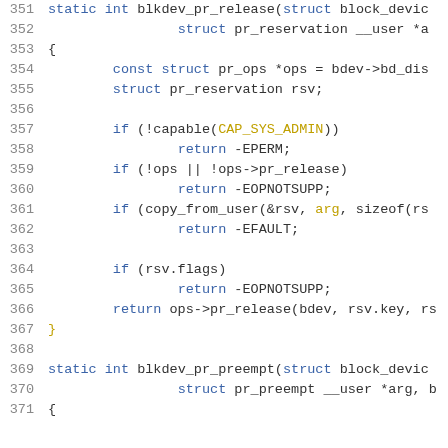[Figure (screenshot): Source code snippet showing C functions blkdev_pr_release and blkdev_pr_preempt, lines 351-371, with syntax highlighting in a dark-on-light code editor style.]